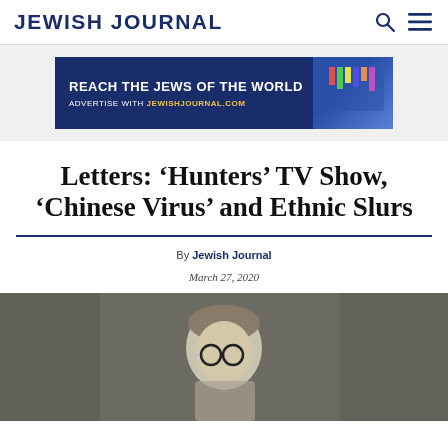JEWISH JOURNAL
[Figure (infographic): Advertisement banner: REACH THE JEWS OF THE WORLD — ADVERTISE WITH JEWISHJOURNAL.COM, dark navy blue background with decorative elements on right]
Letters: ‘Hunters’ TV Show, ‘Chinese Virus’ and Ethnic Slurs
By Jewish Journal
March 27, 2020
[Figure (photo): Black and white vintage photograph of a young child with short hair and round eyeglasses, looking slightly downward]